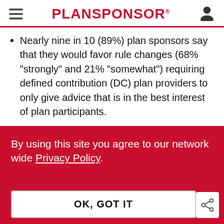PLANSPONSOR
Nearly nine in 10 (89%) plan sponsors say that they would favor rule changes (68% “strongly” and 21% “somewhat”) requiring defined contribution (DC) plan providers to only give advice that is in the best interest of plan participants.
Nearly as many plan sponsors (88%) favor requiring DC providers to disclose their…
By using this site you agree to our network wide Privacy Policy.
OK, GOT IT